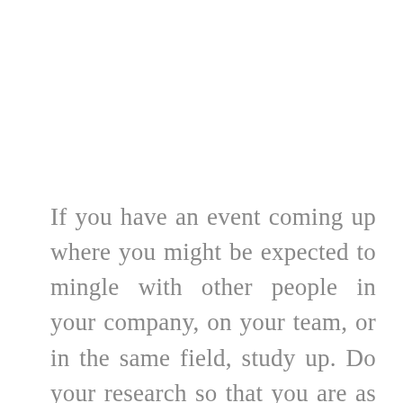If you have an event coming up where you might be expected to mingle with other people in your company, on your team, or in the same field, study up. Do your research so that you are as prepared as possible. Doing this will help you know what you're talking about and will make you feel more comfortable.